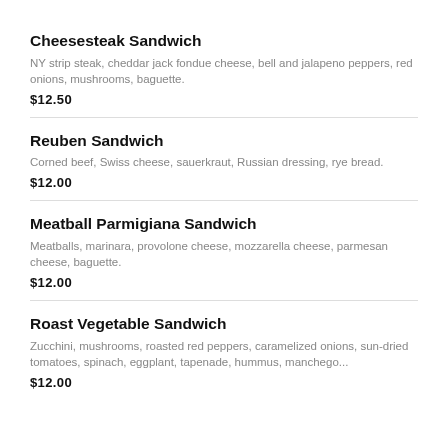Cheesesteak Sandwich
NY strip steak, cheddar jack fondue cheese, bell and jalapeno peppers, red onions, mushrooms, baguette.
$12.50
Reuben Sandwich
Corned beef, Swiss cheese, sauerkraut, Russian dressing, rye bread.
$12.00
Meatball Parmigiana Sandwich
Meatballs, marinara, provolone cheese, mozzarella cheese, parmesan cheese, baguette.
$12.00
Roast Vegetable Sandwich
Zucchini, mushrooms, roasted red peppers, caramelized onions, sun-dried tomatoes, spinach, eggplant, tapenade, hummus, manchego...
$12.00